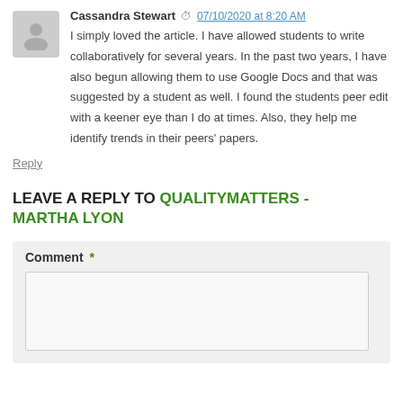Cassandra Stewart  07/10/2020 at 8:20 AM
I simply loved the article. I have allowed students to write collaboratively for several years. In the past two years, I have also begun allowing them to use Google Docs and that was suggested by a student as well. I found the students peer edit with a keener eye than I do at times. Also, they help me identify trends in their peers' papers.
Reply
LEAVE A REPLY TO QUALITYMATTERS - MARTHA LYON
Comment *